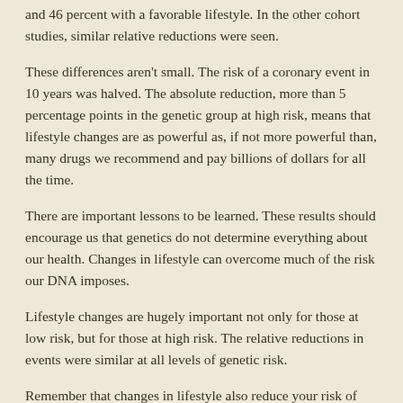and 46 percent with a favorable lifestyle. In the other cohort studies, similar relative reductions were seen.
These differences aren't small. The risk of a coronary event in 10 years was halved. The absolute reduction, more than 5 percentage points in the genetic group at high risk, means that lifestyle changes are as powerful as, if not more powerful than, many drugs we recommend and pay billions of dollars for all the time.
There are important lessons to be learned. These results should encourage us that genetics do not determine everything about our health. Changes in lifestyle can overcome much of the risk our DNA imposes.
Lifestyle changes are hugely important not only for those at low risk, but for those at high risk. The relative reductions in events were similar at all levels of genetic risk.
Remember that changes in lifestyle also reduce your risk of cancer, the number two killer making it clear that a healthy lifestyle has implications for an even greater number of us!